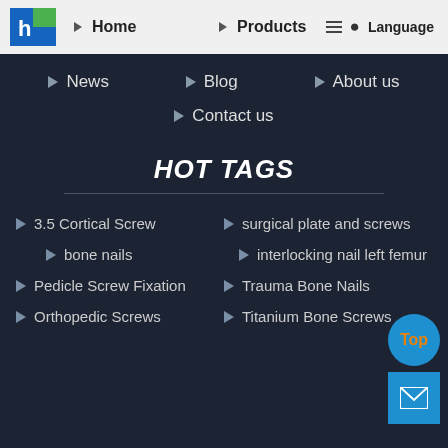[Figure (logo): Company logo with blue and green puzzle piece design]
Home | Products | Language
News
Blog
About us
Contact us
HOT TAGS
3.5 Cortical Screw
surgical plate and screws
bone nails
interlocking nail left femur
Pedicle Screw Fixation
Trauma Bone Nails
Orthopedic Screws
Titanium Bone Screws